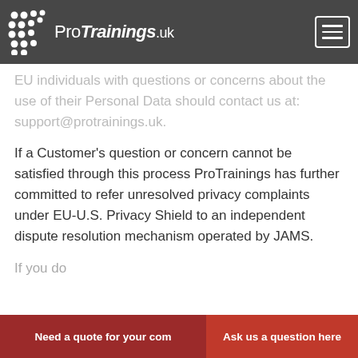ProTrainings.uk
EU individuals with questions or concerns about the use of their Personal Data should contact us at: support@protrainings.uk.
If a Customer's question or concern cannot be satisfied through this process ProTrainings has further committed to refer unresolved privacy complaints under EU-U.S. Privacy Shield to an independent dispute resolution mechanism operated by JAMS.
If you do not receive timely ac…
Need a quote for your com… | Ask us a question here